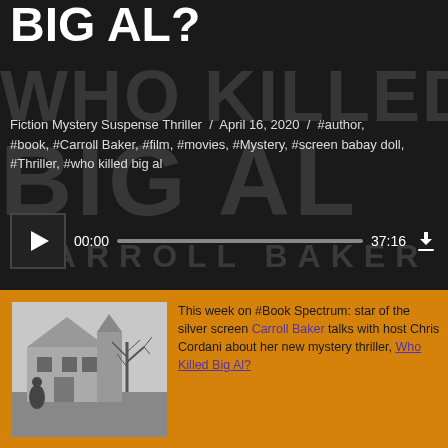BIG AL?
Fiction Mystery Suspense Thriller / April 16, 2020 / #author, #book, #Carroll Baker, #film, #movies, #Mystery, #screen babay doll, #Thriller, #who killed big al
[Figure (screenshot): Audio player bar showing 00:00 start time, progress track, 37:16 duration, and download icon]
[Figure (photo): Black and white photo of a large house or mansion with a bare tree in winter]
This week on #Book Spectrum: star of the silver screen Carroll Baker talks with host Chris Cordani about her new mystery thriller, Who Killed Big Al?